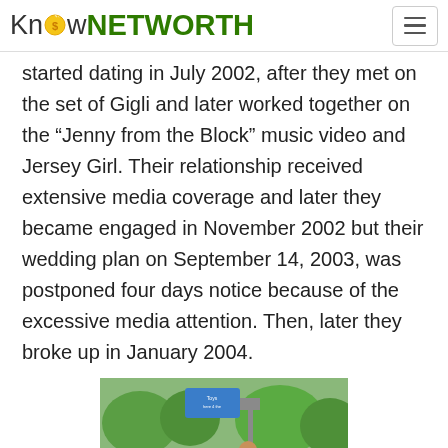KnowNETWORTH
started dating in July 2002, after they met on the set of Gigli and later worked together on the “Jenny from the Block” music video and Jersey Girl. Their relationship received extensive media coverage and later they became engaged in November 2002 but their wedding plan on September 14, 2003, was postponed four days notice because of the excessive media attention. Then, later they broke up in January 2004.
[Figure (photo): A family group walking outdoors near a store with colorful flowers, including a man in a dark jacket and blue shirt and several children.]